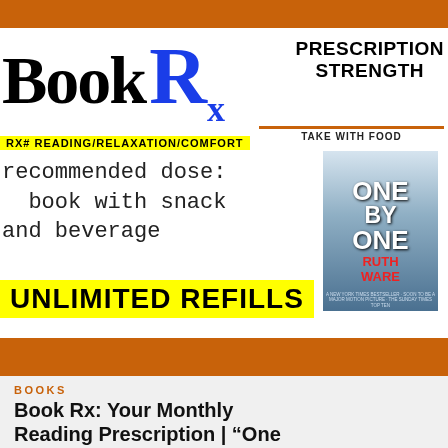[Figure (illustration): Book Rx prescription-themed banner with 'Book Rx' large serif title, blue Rx symbol, 'PRESCRIPTION STRENGTH / TAKE WITH FOOD' label, yellow highlighted 'RX# READING/RELAXATION/COMFORT' line, 'recommended dose: book with snack and beverage' in monospace, 'UNLIMITED REFILLS' in yellow highlight, book cover for 'One by One' by Ruth Ware, orange top and bottom bars]
BOOKS
Book Rx: Your Monthly Reading Prescription | “One by One”